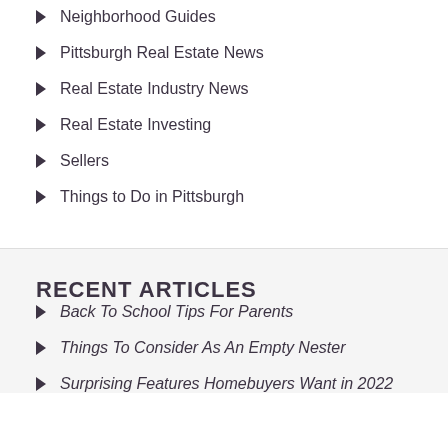Neighborhood Guides
Pittsburgh Real Estate News
Real Estate Industry News
Real Estate Investing
Sellers
Things to Do in Pittsburgh
RECENT ARTICLES
Back To School Tips For Parents
Things To Consider As An Empty Nester
Surprising Features Homebuyers Want in 2022